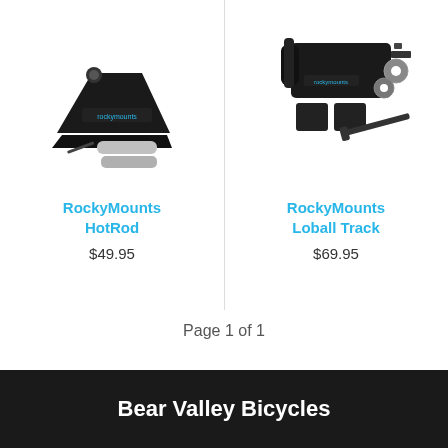[Figure (photo): RockyMounts HotRod product photo – black bike mount accessory with silver cylindrical components and a small wrench, on white background]
RockyMounts
HotRod
$49.95
[Figure (photo): RockyMounts Loball Track product photo – black bike mount accessory with hardware components, hex key, and washers on white background]
RockyMounts
Loball Track
$69.95
Page 1 of 1
Bear Valley Bicycles